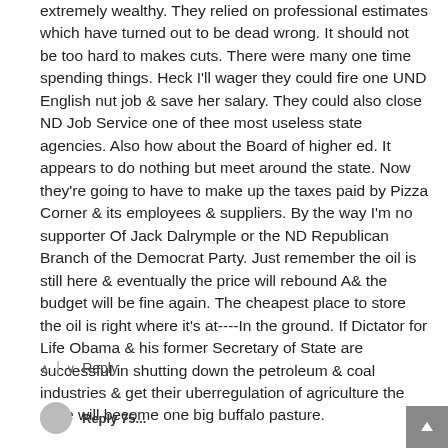extremely wealthy. They relied on professional estimates which have turned out to be dead wrong. It should not be too hard to makes cuts. There were many one time spending things. Heck I'll wager they could fire one UND English nut job & save her salary. They could also close ND Job Service one of thee most useless state agencies. Also how about the Board of higher ed. It appears to do nothing but meet around the state. Now they're going to have to make up the taxes paid by Pizza Corner & its employees & suppliers. By the way I'm no supporter Of Jack Dalrymple or the ND Republican Branch of the Democrat Party. Just remember the oil is still here & eventually the price will rebound A& the budget will be fine again. The cheapest place to store the oil is right where it's at----In the ground. If Dictator for Life Obama & his former Secretary of State are successful in shutting down the petroleum & coal industries & get their uberregulation of agriculture the state will become one big buffalo pasture.
Reply